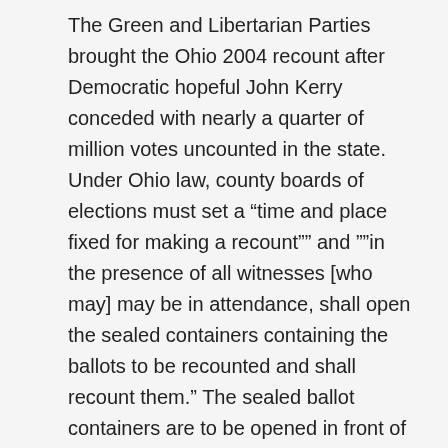The Green and Libertarian Parties brought the Ohio 2004 recount after Democratic hopeful John Kerry conceded with nearly a quarter of million votes uncounted in the state. Under Ohio law, county boards of elections must set a “time and place fixed for making a recount”” and ””in the presence of all witnesses [who may] may be in attendance, shall open the sealed containers containing the ballots to be recounted and shall recount them.” The sealed ballot containers are to be opened in front of BOE officials and recount candidates may “attend an witness the recount and may have any person whom the candidate designates attend and witness the recount,” under ORC 3515.03.